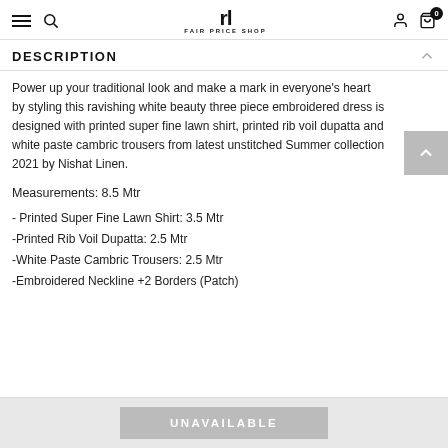rl FAIR PRICE SHOP
DESCRIPTION
Power up your traditional look and make a mark in everyone's heart by styling this ravishing white beauty three piece embroidered dress is designed with printed super fine lawn shirt, printed rib voil dupatta and white paste cambric trousers from latest unstitched Summer collection 2021 by Nishat Linen.
Measurements: 8.5 Mtr
- Printed Super Fine Lawn Shirt: 3.5 Mtr
-Printed Rib Voil Dupatta: 2.5 Mtr
-White Paste Cambric Trousers: 2.5 Mtr
-Embroidered Neckline +2 Borders (Patch)
UNAVAILABLE